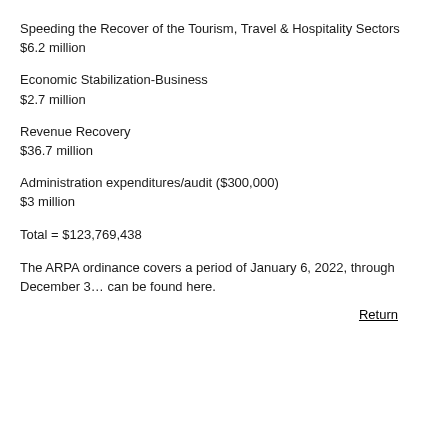Speeding the Recover of the Tourism, Travel & Hospitality Sectors
$6.2 million
Economic Stabilization-Business
$2.7 million
Revenue Recovery
$36.7 million
Administration expenditures/audit ($300,000)
$3 million
Total = $123,769,438
The ARPA ordinance covers a period of January 6, 2022, through December 3... can be found here.
Return